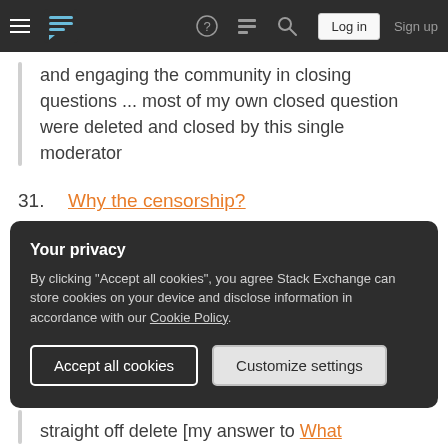Stack Exchange navigation bar with hamburger menu, logo, help, chat, search icons, Log in and Sign up buttons
and engaging the community in closing questions ... most of my own closed question were deleted and closed by this single moderator
31. Why the censorship?
The censorship on this site is alarming! ... My answer to this question was deleted.
Your privacy
By clicking “Accept all cookies”, you agree Stack Exchange can store cookies on your device and disclose information in accordance with our Cookie Policy.
Accept all cookies | Customize settings
straight off delete [my answer to What